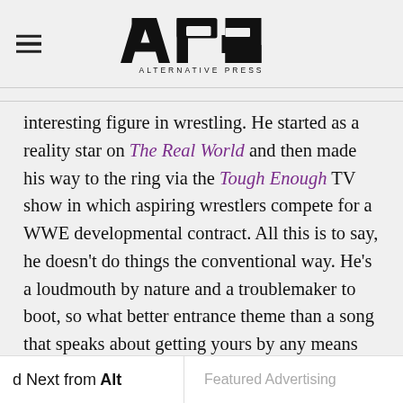Alternative Press logo header
interesting figure in wrestling. He started as a reality star on The Real World and then made his way to the ring via the Tough Enough TV show in which aspiring wrestlers compete for a WWE developmental contract. All this is to say, he doesn't do things the conventional way. He's a loudmouth by nature and a troublemaker to boot, so what better entrance theme than a song that speaks about getting yours by any means necessary? He'll be the prankster, the instigator, the puppetmaster, anything to reach his goals in the ring. He might even cheat a time or two if he can get away with it—he came to play.
d Next from Alt | Featured Advertising